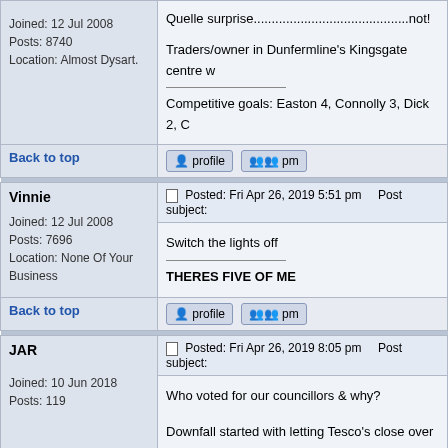| User Info | Post Content |
| --- | --- |
| Joined: 12 Jul 2008
Posts: 8740
Location: Almost Dysart. | Quelle surprise...........................................not!
Traders/owner in Dunfermline's Kingsgate centre w
Competitive goals: Easton 4, Connolly 3, Dick 2, C |
| Back to top | [profile] [pm] |
| Vinnie
Joined: 12 Jul 2008
Posts: 7696
Location: None Of Your Business | Posted: Fri Apr 26, 2019 5:51 pm   Post subject:
Switch the lights off
THERES FIVE OF ME |
| Back to top | [profile] [pm] |
| JAR
Joined: 10 Jun 2018
Posts: 119 | Posted: Fri Apr 26, 2019 8:05 pm   Post subject:
Who voted for our councillors & why?
Downfall started with letting Tesco's close over rat |
| Back to top | [profile] [pm] |
| Vinnie
Joined: 12 Jul 2008 | Posted: Fri Apr 26, 2019 9:02 pm   Post subject:
Tesco,s never closed over rates and car park. |